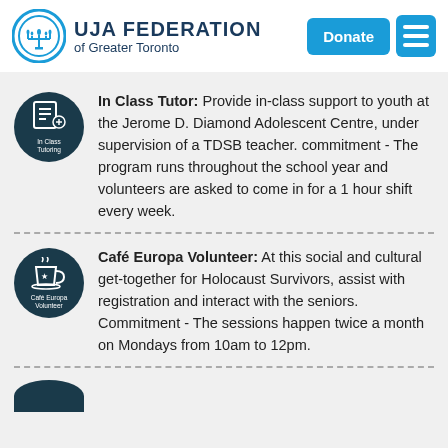[Figure (logo): UJA Federation of Greater Toronto logo with menorah symbol]
Donate
In Class Tutor: Provide in-class support to youth at the Jerome D. Diamond Adolescent Centre, under supervision of a TDSB teacher. commitment - The program runs throughout the school year and volunteers are asked to come in for a 1 hour shift every week.
Café Europa Volunteer: At this social and cultural get-together for Holocaust Survivors, assist with registration and interact with the seniors. Commitment - The sessions happen twice a month on Mondays from 10am to 12pm.